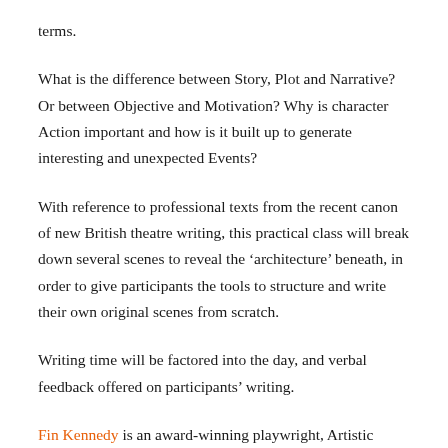terms.
What is the difference between Story, Plot and Narrative? Or between Objective and Motivation? Why is character Action important and how is it built up to generate interesting and unexpected Events?
With reference to professional texts from the recent canon of new British theatre writing, this practical class will break down several scenes to reveal the ‘architecture’ beneath, in order to give participants the tools to structure and write their own original scenes from scratch.
Writing time will be factored into the day, and verbal feedback offered on participants’ writing.
Fin Kennedy is an award-winning playwright, Artistic Director of Tamasha, visiting Lecturer at Central Saint Martins (MA Dramatic